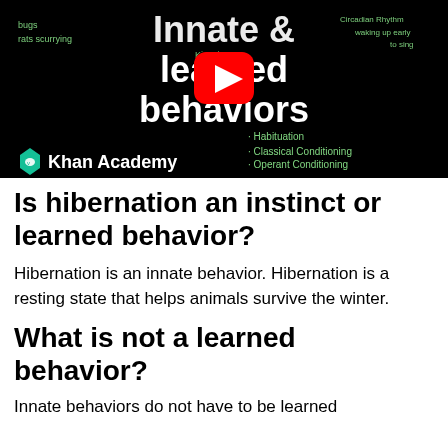[Figure (screenshot): Khan Academy video thumbnail with black background. Title text reads 'Innate & learned behaviors' in white. Topics listed include Habituation, Classical Conditioning, Operant Conditioning, and other learning types. A red YouTube play button is centered. Khan Academy logo (teal hexagon with white owl) and text appear at bottom left.]
Is hibernation an instinct or learned behavior?
Hibernation is an innate behavior. Hibernation is a resting state that helps animals survive the winter.
What is not a learned behavior?
Innate behaviors do not have to be learned or practiced. They are also called instinctive